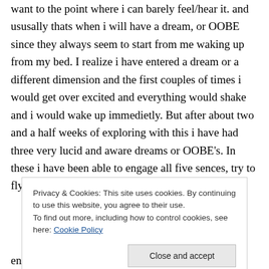want to the point where i can barely feel/hear it. and ususally thats when i will have a dream, or OOBE since they always seem to start from me waking up from my bed. I realize i have entered a dream or a different dimension and the first couples of times i would get over excited and everything would shake and i would wake up immedietly. But after about two and a half weeks of exploring with this i have had three very lucid and aware dreams or OOBE's. In these i have been able to engage all five sences, try to fly but
Privacy & Cookies: This site uses cookies. By continuing to use this website, you agree to their use.
To find out more, including how to control cookies, see here: Cookie Policy
enter a spiritual real? in all 3 of my dreams or